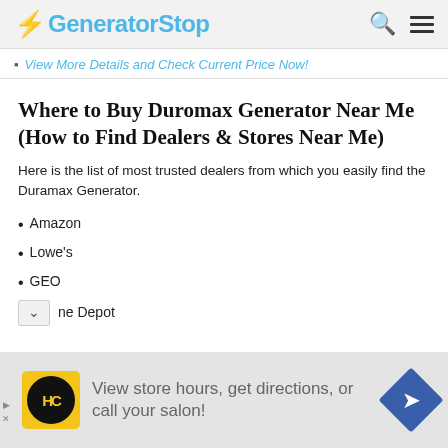GeneratorStop
View More Details and Check Current Price Now!
Where to Buy Duromax Generator Near Me (How to Find Dealers & Stores Near Me)
Here is the list of most trusted dealers from which you easily find the Duramax Generator.
Amazon
Lowe's
GEO
ne Depot
[Figure (infographic): Advertisement banner: Yellow HC logo circle, text 'View store hours, get directions, or call your salon!', blue diamond arrow icon on right]